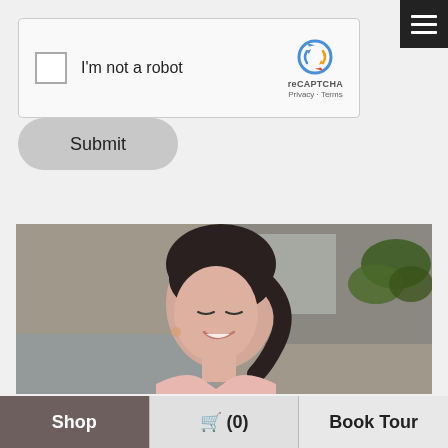[Figure (screenshot): reCAPTCHA widget with checkbox labeled 'I'm not a robot' and reCAPTCHA logo with Privacy and Terms links]
[Figure (other): Dark rounded square menu/hamburger button with three horizontal white lines in top right corner]
Submit
[Figure (photo): Woman with dark hair pulled back, smiling and looking down, wearing a pink top, sitting in a home setting with blurred background plants]
Shop  🛒 (0)  Book Tour